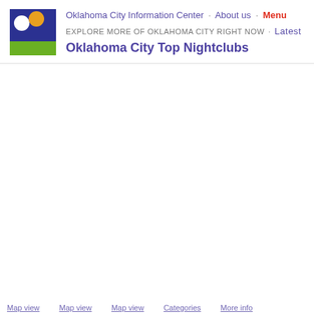[Figure (logo): Oklahoma City Information Center logo: dark blue square with white circle and yellow/orange arc, green rectangle below]
Oklahoma City Information Center · About us · Menu
EXPLORE MORE OF OKLAHOMA CITY RIGHT NOW · Latest
Oklahoma City Top Nightclubs